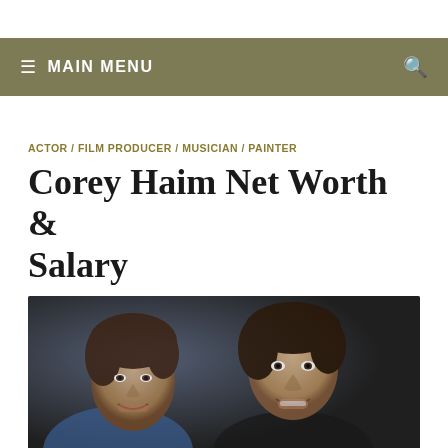≡ MAIN MENU
ACTOR / FILM PRODUCER / MUSICIAN / PAINTER
Corey Haim Net Worth & Salary
May 24, 2021 - by TheWealthyCelebs - Leave a Comment
[Figure (photo): Photo of two young men smiling, Corey Haim visible on left, dark background]